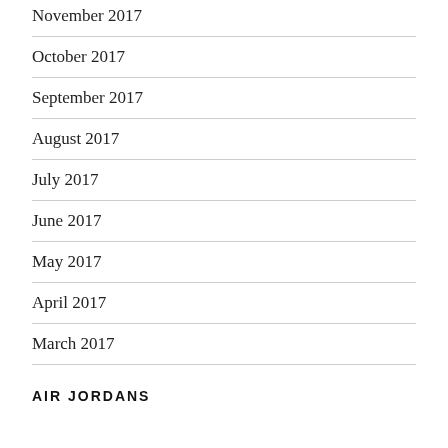November 2017
October 2017
September 2017
August 2017
July 2017
June 2017
May 2017
April 2017
March 2017
AIR JORDANS